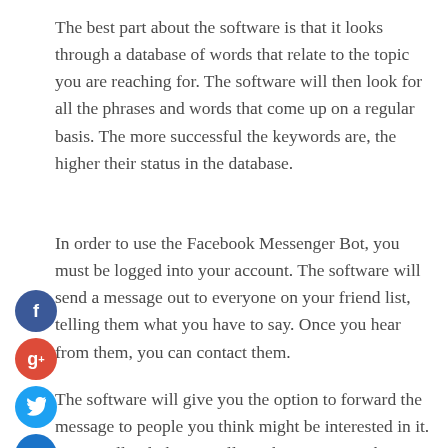The best part about the software is that it looks through a database of words that relate to the topic you are reaching for. The software will then look for all the phrases and words that come up on a regular basis. The more successful the keywords are, the higher their status in the database.
In order to use the Facebook Messenger Bot, you must be logged into your account. The software will send a message out to everyone on your friend list, telling them what you have to say. Once you hear from them, you can contact them.
The software will give you the option to forward the message to people you think might be interested in it. But it will only be a small number. For now, the Bot will just offer its own insights. If people do respond, they'll be aware of what you've got to say.